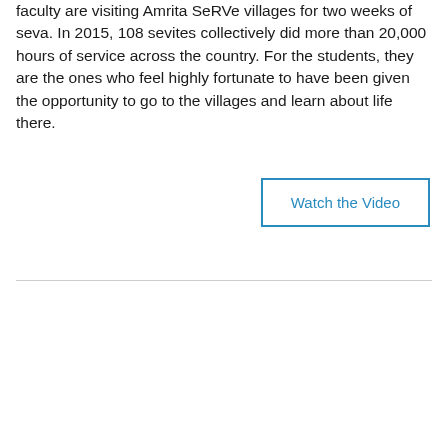faculty are visiting Amrita SeRVe villages for two weeks of seva. In 2015, 108 sevites collectively did more than 20,000 hours of service across the country. For the students, they are the ones who feel highly fortunate to have been given the opportunity to go to the villages and learn about life there.
Watch the Video